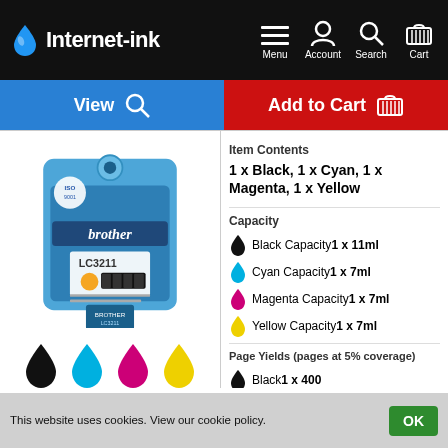Internet-ink — Menu, Account, Search, Cart
View | Add to Cart
[Figure (photo): Brother LC3211 ink cartridge multipack product box with black, cyan, magenta, yellow ink drop icons below]
Item Contents
1 x Black, 1 x Cyan, 1 x Magenta, 1 x Yellow

Capacity
🖤 Black Capacity 1 x 11ml
🩵 Cyan Capacity 1 x 7ml
💗 Magenta Capacity 1 x 7ml
💛 Yellow Capacity 1 x 7ml

Page Yields (pages at 5% coverage)
🖤 Black 1 x 400
💛 Yellow 1 x 400
🩵 Cyan 1 x 400
💗 Magenta 1 x 400
This website uses cookies. View our cookie policy. OK